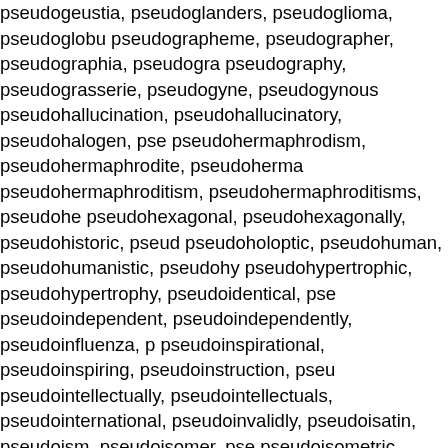pseudogeustia, pseudoglanders, pseudoglioma, pseudoglobu pseudographeme, pseudographer, pseudographia, pseudogra pseudography, pseudograsserie, pseudogyne, pseudogynous pseudohallucination, pseudohallucinatory, pseudohalogen, pse pseudohermaphrodism, pseudohermaphrodite, pseudoherma pseudohermaphroditism, pseudohermaphroditisms, pseudohe pseudohexagonal, pseudohexagonally, pseudohistoric, pseud pseudoholoptic, pseudohuman, pseudohumanistic, pseudohy pseudohypertrophic, pseudohypertrophy, pseudoidentical, pse pseudoindependent, pseudoindependently, pseudoinfluenza, p pseudoinspirational, pseudoinspiring, pseudoinstruction, pseu pseudointellectually, pseudointellectuals, pseudointernational, pseudoinvalidly, pseudoisatin, pseudoism, pseudoisomer, pse pseudoisometric, pseudoisotropy, pseudojervine, pseudolabia pseudolamellibranchiate, pseudolaminated, pseudolateral, pse pseudolegendary, pseudoleucite, pseudoleucocyte, pseudoleu pseudoliberally, pseudolichen, pseudolinguistic, pseudolinguis pseudologia, pseudologias, pseudological, pseudologically, ps pseudologues, pseudology, pseudolunula, pseudolunulae, pse pseudomalaria, pseudomancy, pseudomania, pseudomaniac, pseudomartyr, pseudomartyrs, pseudomasculine, pseudomed pseudomedievally, pseudomelanosis, pseudomembrane, pseu pseudomemory, pseudomeningitis, pseudomenstruation, pseu pseudomery, pseudometallic, pseudometameric, pseudometam pseudomilitarily, pseudomilitarist, pseudomilitary, pseudo